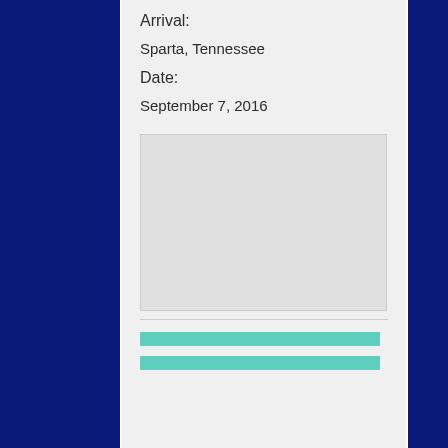Arrival:
Sparta, Tennessee
Date:
September 7, 2016
[Figure (photo): Empty photo placeholder box]
[Figure (other): Two teal horizontal bars]